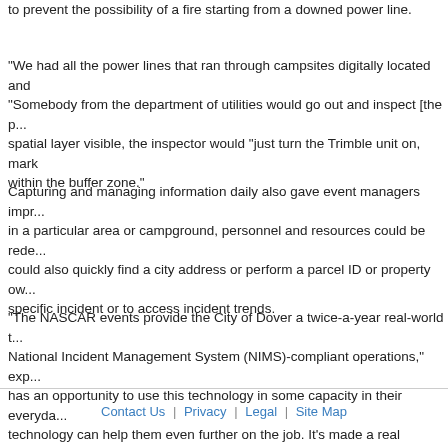to prevent the possibility of a fire starting from a downed power line.
"We had all the power lines that ran through campsites digitally located and "Somebody from the department of utilities would go out and inspect [the p... spatial layer visible, the inspector would "just turn the Trimble unit on, mark within the buffer zone."
Capturing and managing information daily also gave event managers impr... in a particular area or campground, personnel and resources could be rede... could also quickly find a city address or perform a parcel ID or property ow... specific incident or to access incident trends.
"The NASCAR events provide the City of Dover a twice-a-year real-world t... National Incident Management System (NIMS)-compliant operations," exp... has an opportunity to use this technology in some capacity in their everyda... technology can help them even further on the job. It's made a real differen...
Contact Us | Privacy | Legal | Site Map